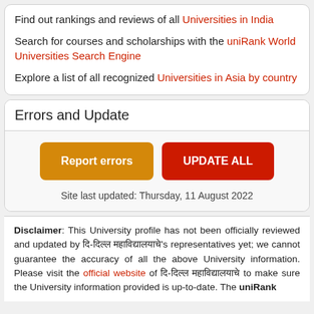Find out rankings and reviews of all Universities in India
Search for courses and scholarships with the uniRank World Universities Search Engine
Explore a list of all recognized Universities in Asia by country
Errors and Update
Report errors
UPDATE ALL
Site last updated: Thursday, 11 August 2022
Disclaimer: This University profile has not been officially reviewed and updated by ██-████ ██████████████'s representatives yet; we cannot guarantee the accuracy of all the above University information. Please visit the official website of ██-████ ██████████████ to make sure the University information provided is up-to-date. The uniRank